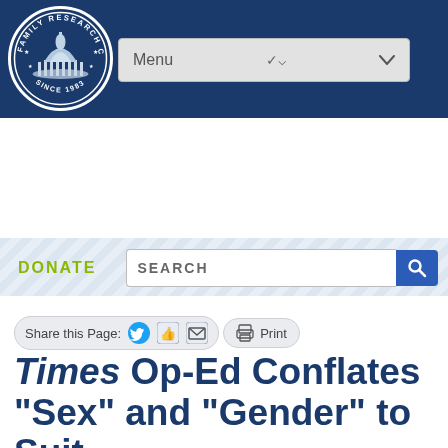[Figure (logo): Family Research Council circular seal logo with Capitol building, stars, and text 'SINCE 1983']
Menu
DONATE
SEARCH
Share this Page:   Print
Times Op-Ed Conflates “Sex” and “Gender” to Suit